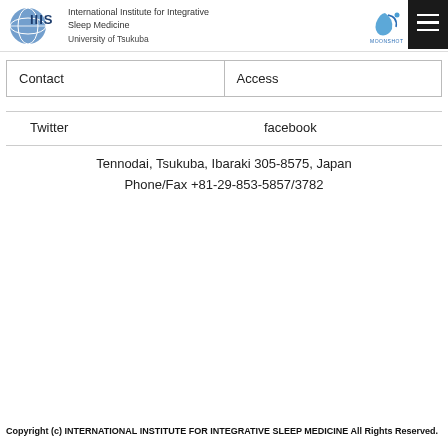[Figure (logo): IIIS globe logo with text: International Institute for Integrative Sleep Medicine, University of Tsukuba]
[Figure (logo): Moonshot logo (stylized bird/arrow in blue) with text MOONSHOT]
Contact
Access
Twitter
facebook
Tennodai, Tsukuba, Ibaraki 305-8575, Japan
Phone/Fax +81-29-853-5857/3782
Copyright (c) INTERNATIONAL INSTITUTE FOR INTEGRATIVE SLEEP MEDICINE All Rights Reserved.